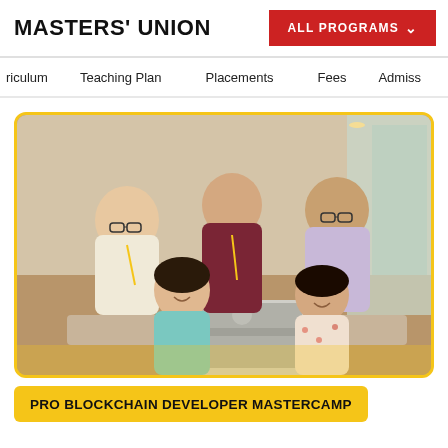MASTERS' UNION
ALL PROGRAMS
riculum   Teaching Plan   Placements   Fees   Admiss
[Figure (photo): Five young students gathered around a laptop, smiling and collaborating in a modern classroom or meeting room setting. They are wearing lanyards and casual professional attire.]
PRO BLOCKCHAIN DEVELOPER MASTERCAMP